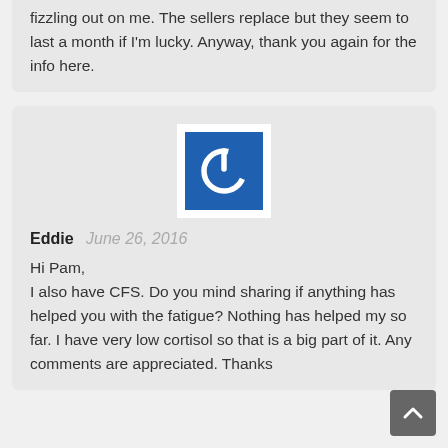fizzling out on me. The sellers replace but they seem to last a month if I'm lucky. Anyway, thank you again for the info here.
[Figure (logo): Blue square power button icon on white background]
Eddie  June 26, 2016
Hi Pam,
I also have CFS. Do you mind sharing if anything has helped you with the fatigue? Nothing has helped my so far. I have very low cortisol so that is a big part of it. Any comments are appreciated. Thanks